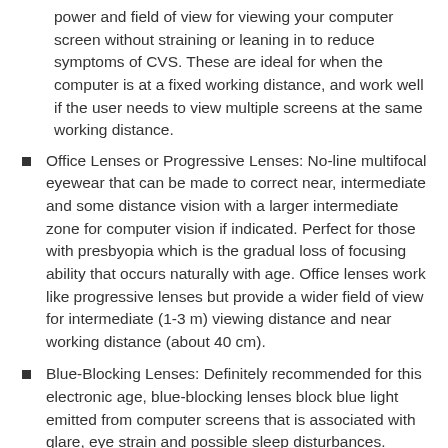power and field of view for viewing your computer screen without straining or leaning in to reduce symptoms of CVS. These are ideal for when the computer is at a fixed working distance, and work well if the user needs to view multiple screens at the same working distance.
Office Lenses or Progressive Lenses: No-line multifocal eyewear that can be made to correct near, intermediate and some distance vision with a larger intermediate zone for computer vision if indicated. Perfect for those with presbyopia which is the gradual loss of focusing ability that occurs naturally with age. Office lenses work like progressive lenses but provide a wider field of view for intermediate (1-3 m) viewing distance and near working distance (about 40 cm).
Blue-Blocking Lenses: Definitely recommended for this electronic age, blue-blocking lenses block blue light emitted from computer screens that is associated with glare, eye strain and possible sleep disturbances.
Anti-glare and filtering coatings (treatments): Eliminate reflections from the surfaces of your lens to reduce eye strain and discomfort from glare. Some coatings can also